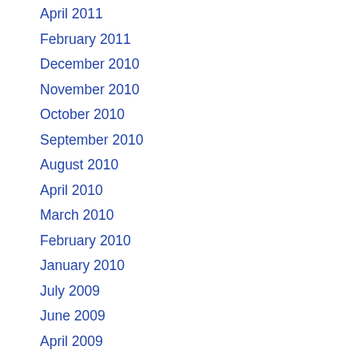April 2011
February 2011
December 2010
November 2010
October 2010
September 2010
August 2010
April 2010
March 2010
February 2010
January 2010
July 2009
June 2009
April 2009
February 2009
December 2008
October 2008